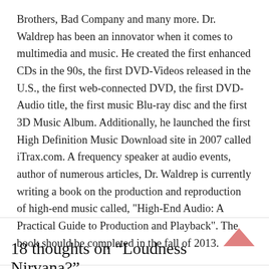Brothers, Bad Company and many more. Dr. Waldrep has been an innovator when it comes to multimedia and music. He created the first enhanced CDs in the 90s, the first DVD-Videos released in the U.S., the first web-connected DVD, the first DVD-Audio title, the first music Blu-ray disc and the first 3D Music Album. Additionally, he launched the first High Definition Music Download site in 2007 called iTrax.com. A frequency speaker at audio events, author of numerous articles, Dr. Waldrep is currently writing a book on the production and reproduction of high-end music called, "High-End Audio: A Practical Guide to Production and Playback". The book should be completed in the fall of 2013.
18 thoughts on “Loudness Nirvana?”